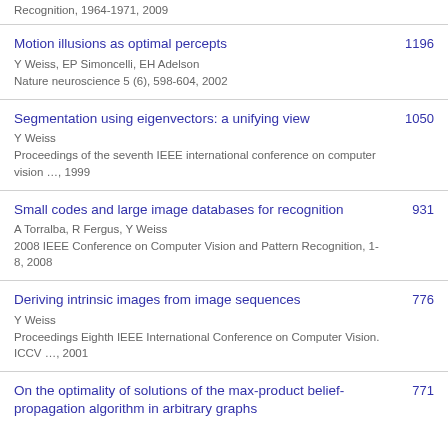Recognition, 1964-1971, 2009
Motion illusions as optimal percepts | Y Weiss, EP Simoncelli, EH Adelson | Nature neuroscience 5 (6), 598-604, 2002 | 1196
Segmentation using eigenvectors: a unifying view | Y Weiss | Proceedings of the seventh IEEE international conference on computer vision …, 1999 | 1050
Small codes and large image databases for recognition | A Torralba, R Fergus, Y Weiss | 2008 IEEE Conference on Computer Vision and Pattern Recognition, 1-8, 2008 | 931
Deriving intrinsic images from image sequences | Y Weiss | Proceedings Eighth IEEE International Conference on Computer Vision. ICCV …, 2001 | 776
On the optimality of solutions of the max-product belief-propagation algorithm in arbitrary graphs